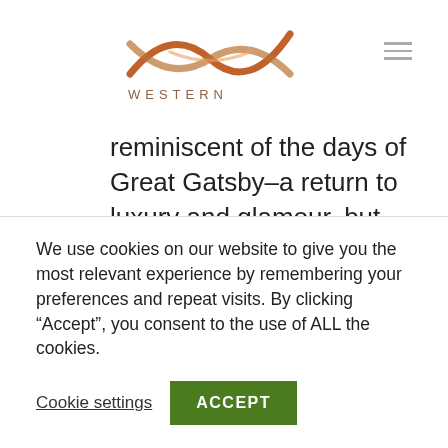WESTERN
reminiscent of the days of Great Gatsby–a return to luxury and glamour, but with WiFi, and much faster speeds.
Design-Factor
We use cookies on our website to give you the most relevant experience by remembering your preferences and repeat visits. By clicking “Accept”, you consent to the use of ALL the cookies.
Cookie settings  ACCEPT